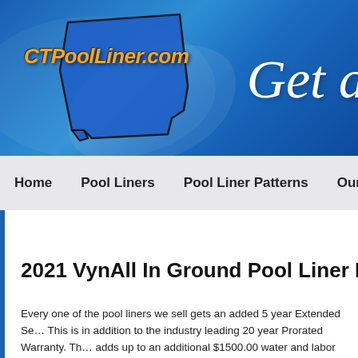[Figure (illustration): CTPoolLiner.com website header banner with blue gradient background showing the state of Connecticut outline shape in blue, the logo text 'CTPoolLiner.com' in orange italic bold font, and partial text 'Get a' in white italic cursive font on the right side]
Home    Pool Liners    Pool Liner Patterns    Our Servic...
2021 VynAll In Ground Pool Liner P...
Every one of the pool liners we sell gets an added 5 year Extended Se... This is in addition to the industry leading 20 year Prorated Warranty. Th... adds up to an additional $1500.00 water and labor allowance! Also, eve... will have the exclusive UltraSeam technology on both Floor and Wall...